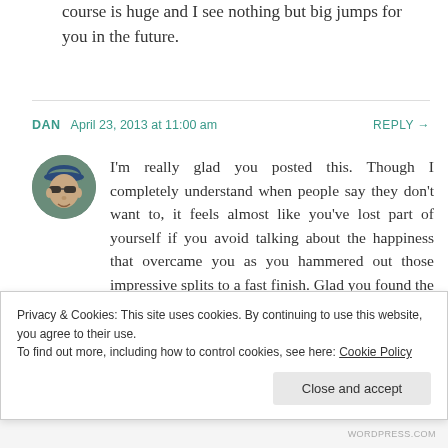course is huge and I see nothing but big jumps for you in the future.
DAN   April 23, 2013 at 11:00 am   REPLY →
[Figure (photo): Circular avatar photo of a man wearing sunglasses and a blue cap]
I'm really glad you posted this. Though I completely understand when people say they don't want to, it feels almost like you've lost part of yourself if you avoid talking about the happiness that overcame you as you hammered out those impressive splits to a fast finish. Glad you found the words. Congratulations — I hope this event has
Privacy & Cookies: This site uses cookies. By continuing to use this website, you agree to their use.
To find out more, including how to control cookies, see here: Cookie Policy
Close and accept